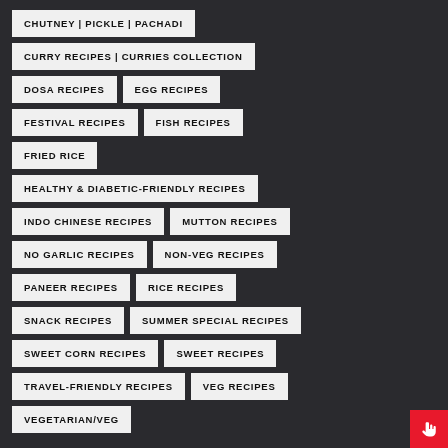CHUTNEY | PICKLE | PACHADI
CURRY RECIPES | CURRIES COLLECTION
DOSA RECIPES
EGG RECIPES
FESTIVAL RECIPES
FISH RECIPES
FRIED RICE
HEALTHY & DIABETIC-FRIENDLY RECIPES
INDO CHINESE RECIPES
MUTTON RECIPES
NO GARLIC RECIPES
NON-VEG RECIPES
PANEER RECIPES
RICE RECIPES
SNACK RECIPES
SUMMER SPECIAL RECIPES
SWEET CORN RECIPES
SWEET RECIPES
TRAVEL-FRIENDLY RECIPES
VEG RECIPES
VEGETARIAN/VEG